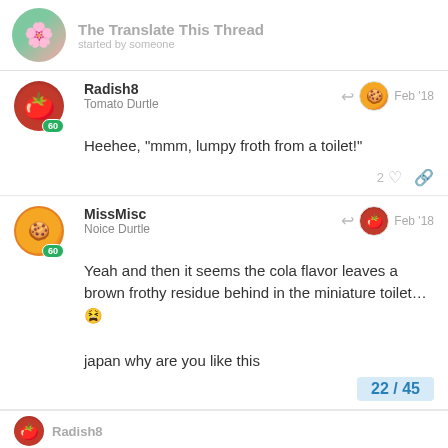The Translate This Thread
Radish8 | Tomato Durtle | Feb '18 | Heehee, "mmm, lumpy froth from a toilet!"
MissMisc | Noice Durtle | Feb '18 | Yeah and then it seems the cola flavor leaves a brown frothy residue behind in the miniature toilet… 😫

japan why are you like this
22 / 45